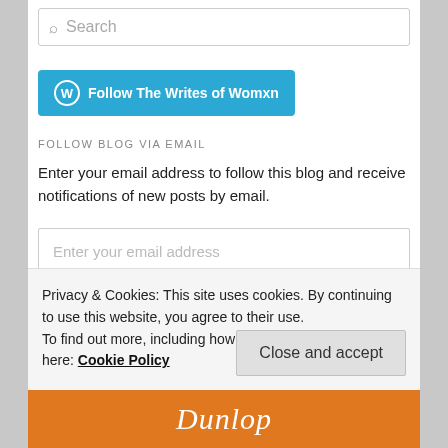Search
[Figure (screenshot): Follow The Writes of Womxn button with WordPress icon on blue background]
FOLLOW BLOG VIA EMAIL
Enter your email address to follow this blog and receive notifications of new posts by email.
Enter your email address
Follow
Join 5,455 other followers
Privacy & Cookies: This site uses cookies. By continuing to use this website, you agree to their use.
To find out more, including how to control cookies, see here: Cookie Policy
Close and accept
Dunlop